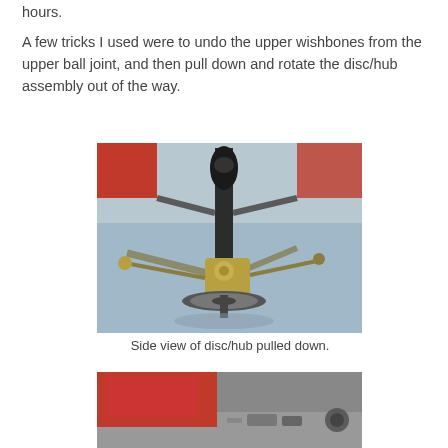hours.
A few tricks I used were to undo the upper wishbones from the upper ball joint, and then pull down and rotate the disc/hub assembly out of the way.
[Figure (photo): Side view of front suspension with disc/hub assembly pulled down. Shows wishbones, coilover strut, hub carrier, brake disc, and various suspension linkages against a blue tarp background with red chassis visible at top.]
Side view of disc/hub pulled down.
[Figure (photo): Partial view of red car chassis/bodywork from above, showing workshop floor with various tools and parts visible.]